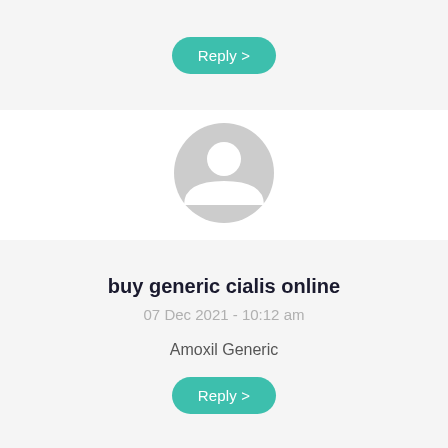[Figure (illustration): A teal rounded rectangle Reply button with right chevron, centered at top]
[Figure (illustration): Gray default user avatar circle with silhouette, centered in white section]
buy generic cialis online
07 Dec 2021 - 10:12 am
Amoxil Generic
[Figure (illustration): A teal rounded rectangle Reply button with right chevron, centered at bottom]